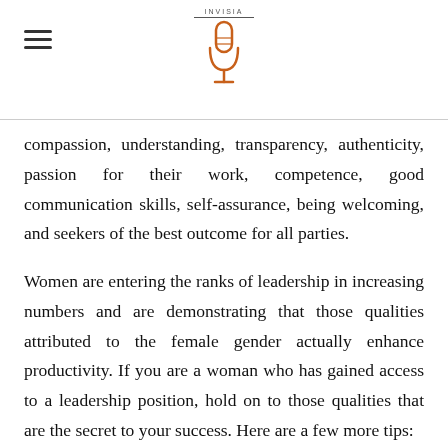INVISIA [logo with microphone icon]
compassion, understanding, transparency, authenticity, passion for their work, competence, good communication skills, self-assurance, being welcoming, and seekers of the best outcome for all parties.
Women are entering the ranks of leadership in increasing numbers and are demonstrating that those qualities attributed to the female gender actually enhance productivity. If you are a woman who has gained access to a leadership position, hold on to those qualities that are the secret to your success. Here are a few more tips: